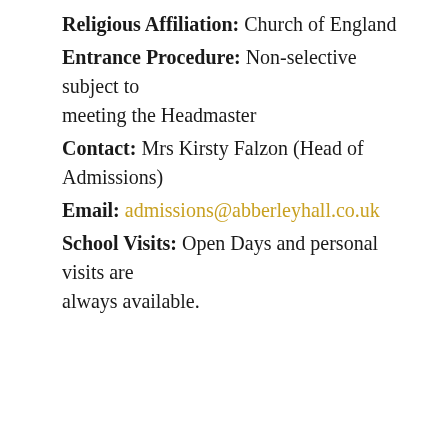Religious Affiliation: Church of England
Entrance Procedure: Non-selective subject to meeting the Headmaster
Contact: Mrs Kirsty Falzon (Head of Admissions)
Email: admissions@abberleyhall.co.uk
School Visits: Open Days and personal visits are always available.